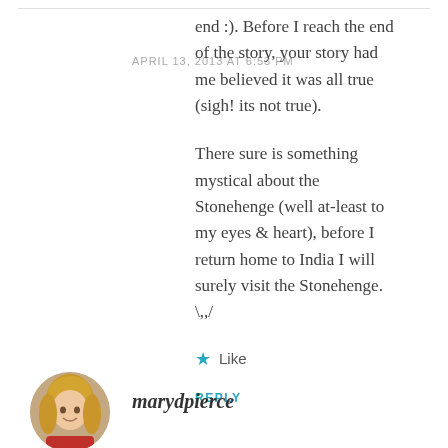end :). Before I reach the end of the story, your story had me believed it was all true (sigh! its not true).
There sure is something mystical about the Stonehenge (well at-least to my eyes & heart), before I return home to India I will surely visit the Stonehenge. \,,/
★ Like
REPLY
marydpierce
APRIL 13, 2013 AT 6:53 PM